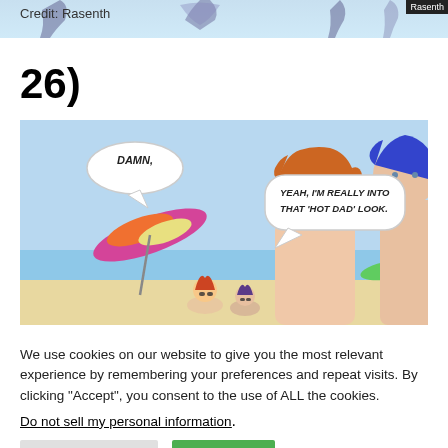Credit: Rasenth
26)
[Figure (illustration): Comic strip panel showing a beach scene with a shirtless red-haired man smiling. Speech bubbles read: 'DAMN,' and 'YEAH, I'M REALLY INTO THAT 'HOT DAD' LOOK.' Background shows beach umbrellas and people.]
We use cookies on our website to give you the most relevant experience by remembering your preferences and repeat visits. By clicking “Accept”, you consent to the use of ALL the cookies.
Do not sell my personal information.
Cookie Settings | Accept